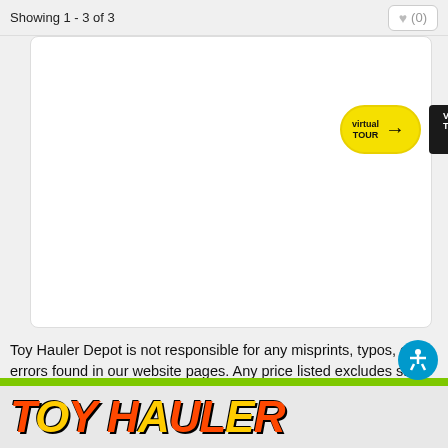Showing 1 - 3 of 3
[Figure (screenshot): Virtual Tour button (yellow oval) and Video Tour button (black rectangle with red arrows) on a white card area]
Toy Hauler Depot is not responsible for any misprints, typos, or errors found in our website pages. Any price listed excludes sales tax, registration tags, and delivery fees. Manufacturer pictures, specifications, and features may be used in place of actual units on our lot. Please contact us @559-302-9630 for availability as our inventory changes rapidly. All calculated payments are an estimate only and do not constitute a commitment that financing or a specific interest rate or term is available.
[Figure (logo): Toy Hauler Depot logo in orange/yellow lettering with black outline at bottom of page]